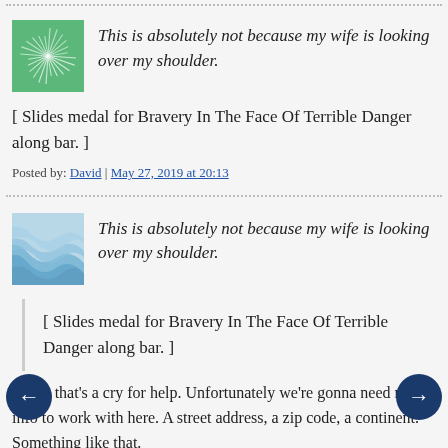[Figure (illustration): Green swirl avatar icon]
This is absolutely not because my wife is looking over my shoulder.
[ Slides medal for Bravery In The Face Of Terrible Danger along bar. ]
Posted by: David | May 27, 2019 at 20:13
[Figure (illustration): Blue wave/shell avatar icon]
This is absolutely not because my wife is looking over my shoulder.
[ Slides medal for Bravery In The Face Of Terrible Danger along bar. ]
Dude, that's a cry for help. Unfortunately we're gonna need more info to work with here. A street address, a zip code, a continent. Something like that.